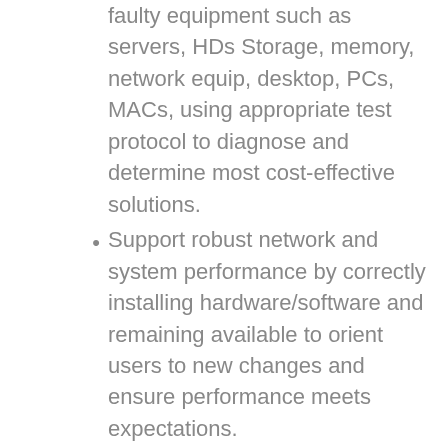faulty equipment such as servers, HDs Storage, memory, network equip, desktop, PCs, MACs, using appropriate test protocol to diagnose and determine most cost-effective solutions.
Support robust network and system performance by correctly installing hardware/software and remaining available to orient users to new changes and ensure performance meets expectations.
Prolong hardware component life by diagnosing issues in modems, printers, cables, or telephones and update support-ware and/or repair item for extended service life and reduced costs.
Enable off-site work by performing in-home setup of computer and other